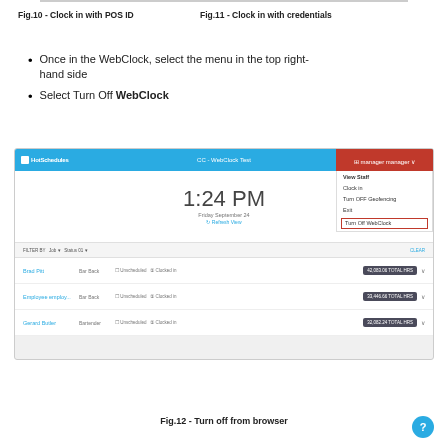Fig.10 - Clock in with POS ID
Fig.11 - Clock in with credentials
Once in the WebClock, select the menu in the top right-hand side
Select Turn Off WebClock
[Figure (screenshot): HotSchedules WebClock browser screenshot showing 1:24 PM on Friday September 24, with a dropdown menu open from the manager menu in the top right corner. The dropdown shows options: View Staff, Clock in, Turn OFF Geofencing, Exit, and Turn Off WebClock (highlighted in red border). Below the clock display is a staff list showing Brad Pitt, Employee employ..., and Gerard Butler with total hours badges.]
Fig.12 - Turn off from browser